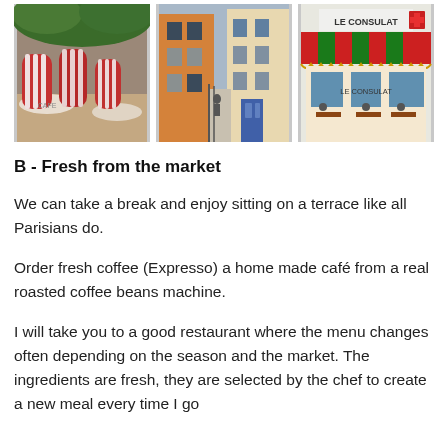[Figure (photo): Three photos of Paris street scenes: a cafe terrace with striped chairs, a narrow Parisian street with colorful buildings, and Le Consulat cafe with red and green striped awning.]
B - Fresh from the market
We can take a break and enjoy sitting on a terrace like all Parisians do.
Order fresh coffee (Expresso) a home made café from a real roasted coffee beans machine.
I will take you to a good restaurant where the menu changes often depending on the season and the market. The ingredients are fresh, they are selected by the chef to create a new meal every time I go